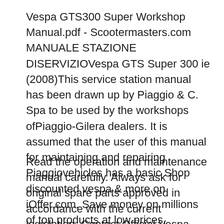Vespa GTS300 Super Workshop Manual.pdf - Scootermasters.com MANUALE STAZIONE DISERVIZIOVespa GTS Super 300 ie (2008)This service station manual has been drawn up by Piaggio & C. Spa to be used by the workshops ofPiaggio-Gilera dealers. It is assumed that the user of this manual for maintaining and repairing Piaggiovehicles has a basic Shop discounted vespa & more on iOffer.com. Save money on millions of top products at low prices, worldwide for over 10 years.
Read the operation and maintenance manual carefully. Always ask for original spare parts approved in accordance with the current legislation. Contact Official Vespa Dealers and